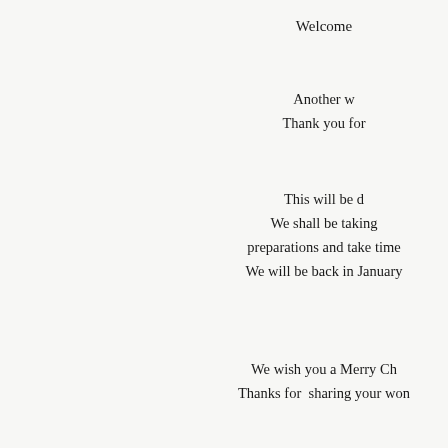Welcome
Another w
Thank you for
This will be d
We shall be taking
preparations and take time
We will be back in January
We wish you a Merry Ch
Thanks for  sharing your won
Lisa and th
C